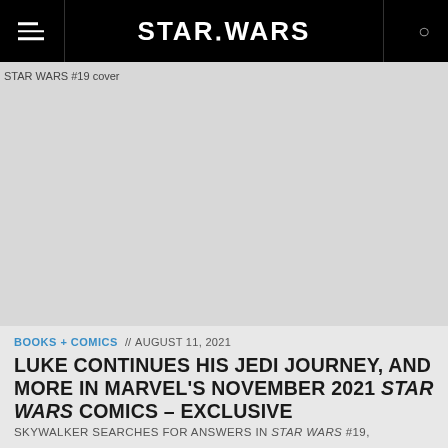STAR WARS
[Figure (photo): STAR WARS #19 cover image placeholder (gray background with alt text)]
BOOKS + COMICS // AUGUST 11, 2021
LUKE CONTINUES HIS JEDI JOURNEY, AND MORE IN MARVEL'S NOVEMBER 2021 STAR WARS COMICS – EXCLUSIVE
SKYWALKER SEARCHES FOR ANSWERS IN STAR WARS #19,